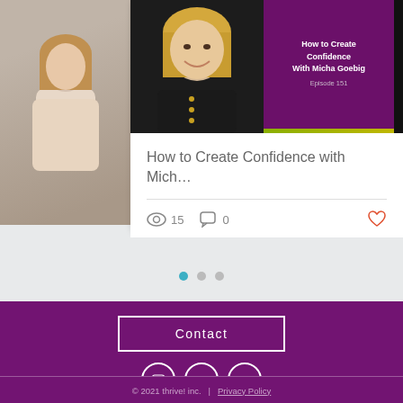[Figure (screenshot): Podcast card thumbnail with photo of blonde woman and purple panel reading 'How to Create Confidence With Micha Goebig, Episode 151']
How to Create Confidence with Mich…
👁 15   💬 0   ♡
[Figure (other): Carousel navigation dots: one blue active dot and two grey inactive dots]
Contact
[Figure (other): Social media icons: YouTube, Facebook, LinkedIn in white circles on purple background]
© 2021 thrive! inc.   |   Privacy Policy